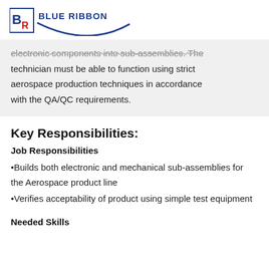[Figure (logo): Blue Ribbon company logo with BR icon and swoosh]
electronic components into sub-assemblies. The technician must be able to function using strict aerospace production techniques in accordance with the QA/QC requirements.
Key Responsibilities:
Job Responsibilities
•Builds both electronic and mechanical sub-assemblies for the Aerospace product line
•Verifies acceptability of product using simple test equipment
Needed Skills